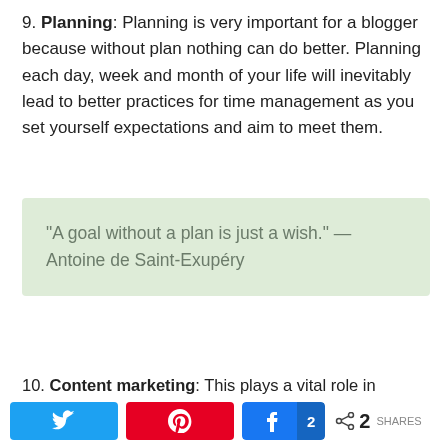9. Planning: Planning is very important for a blogger because without plan nothing can do better. Planning each day, week and month of your life will inevitably lead to better practices for time management as you set yourself expectations and aim to meet them.
“A goal without a plan is just a wish.” — Antoine de Saint-Exupéry
10. Content marketing: This plays a vital role in blogging if no one will see it means you are lacking in your content. You can use these content marketing tools and Social platform to reach more eyeballs socially.
11. Work freedom: There is no pressure that you can only